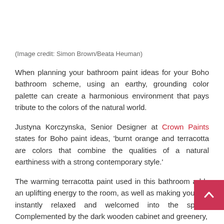(Image credit: Simon Brown/Beata Heuman)
When planning your bathroom paint ideas for your Boho bathroom scheme, using an earthy, grounding color palette can create a harmonious environment that pays tribute to the colors of the natural world.
Justyna Korczynska, Senior Designer at Crown Paints states for Boho paint ideas, ‘burnt orange and terracotta are colors that combine the qualities of a natural earthiness with a strong contemporary style.’
The warming terracotta paint used in this bathroom adds an uplifting energy to the room, as well as making you feel instantly relaxed and welcomed into the space. Complemented by the dark wooden cabinet and greenery,